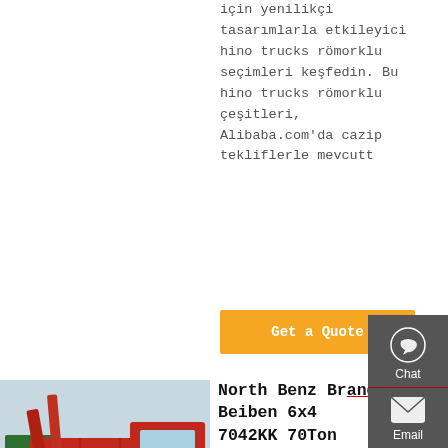için yenilikçi tasarımlarla etkileyici hino trucks römorklu seçimleri keşfedin. Bu hino trucks römorklu çeşitleri, Alibaba.com'da cazip tekliflerle mevcut
Get a Quote
[Figure (photo): Red North Benz / Beiben heavy-duty dump truck parked with other trucks in background]
North Benz Brand Beiben 6x4 7042KK 70Ton 420hp Heavy Off